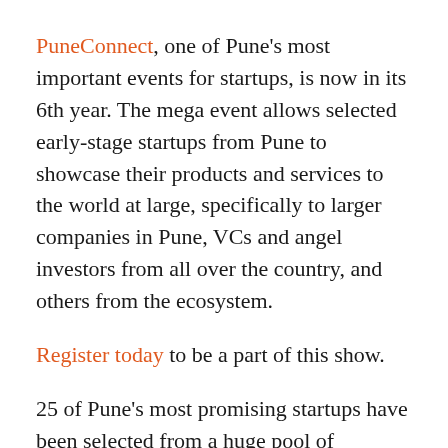PuneConnect, one of Pune's most important events for startups, is now in its 6th year. The mega event allows selected early-stage startups from Pune to showcase their products and services to the world at large, specifically to larger companies in Pune, VCs and angel investors from all over the country, and others from the ecosystem.
Register today to be a part of this show.
25 of Pune's most promising startups have been selected from a huge pool of applicants, and they will be joining some of Pune's established startups and companies in showcasing their products at the Westin, on 19th November from 9:00am to 5pm.
This is an ideal event to connect with the who's who of the Pune Startup ecosystem. You will find lots of startup founders, as part of the showcase, as well as...